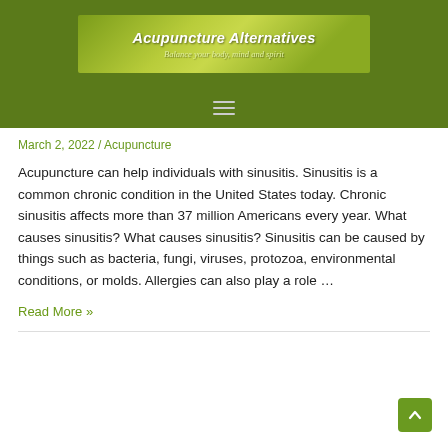[Figure (logo): Acupuncture Alternatives logo banner with tagline 'Balance your body, mind and spirit' on olive/green gradient background with decorative stones image on left]
[Figure (other): Hamburger menu icon (three horizontal lines) on dark olive green navigation bar]
March 2, 2022 / Acupuncture
Acupuncture can help individuals with sinusitis. Sinusitis is a common chronic condition in the United States today. Chronic sinusitis affects more than 37 million Americans every year. What causes sinusitis? What causes sinusitis? Sinusitis can be caused by things such as bacteria, fungi, viruses, protozoa, environmental conditions, or molds. Allergies can also play a role …
Read More »